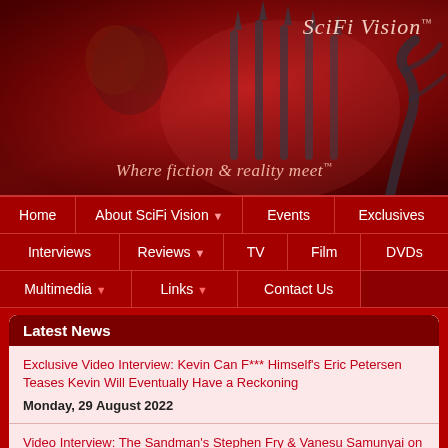[Figure (illustration): SciFi Vision website banner with gothic fantasy scene: woman with red curly hair in dark corset, iron gate fence, twisted tree, dark red atmospheric background. Logo 'SciFi Vision™' in top right. Tagline 'Where fiction & reality meet™' at bottom center.]
Home | About SciFi Vision ▾ | Events | Exclusives | Interviews | Reviews ▾ | TV | Film | DVDs | Multimedia ▾ | Links ▾ | Contact Us
Latest News
Exclusive Video Interview: Kevin Can F*** Himself's Eric Petersen Teases Kevin Will Eventually Have a Reckoning
Monday, 29 August 2022
Video Interview: The Sandman's Stephen Fry & Vanesu Samunyai on Learning from Experience & More